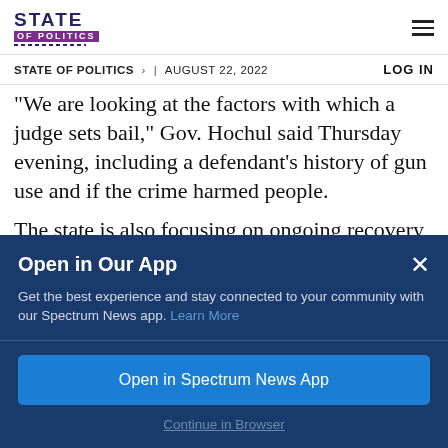STATE OF POLITICS
STATE OF POLITICS > | AUGUST 22, 2022   LOG IN
“We are looking at the factors with which a judge sets bail,” Gov. Hochul said Thursday evening, including a defendant’s history of gun use and if the crime harmed people.
The state is also focusing on ongoing recovery
Open in Our App
Get the best experience and stay connected to your community with our Spectrum News app. Learn More
Open in Spectrum News App
Continue in Browser